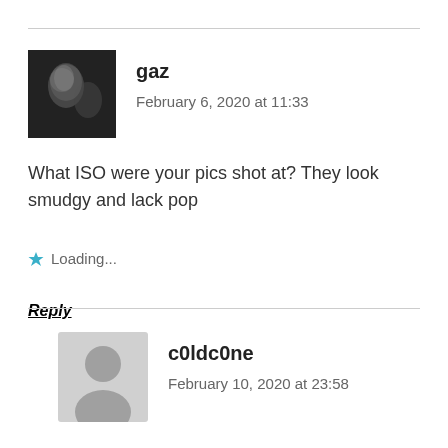[Figure (photo): Black and white profile photo of user 'gaz']
gaz
February 6, 2020 at 11:33
What ISO were your pics shot at? They look smudgy and lack pop
Loading...
Reply
[Figure (illustration): Generic grey avatar silhouette for user 'c0ldc0ne']
c0ldc0ne
February 10, 2020 at 23:58